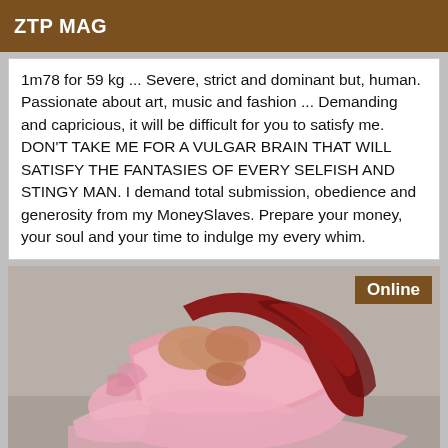ZTP MAG
1m78 for 59 kg ... Severe, strict and dominant but, human. Passionate about art, music and fashion ... Demanding and capricious, it will be difficult for you to satisfy me. DON'T TAKE ME FOR A VULGAR BRAIN THAT WILL SATISFY THE FANTASIES OF EVERY SELFISH AND STINGY MAN. I demand total submission, obedience and generosity from my MoneySlaves. Prepare your money, your soul and your time to indulge my every whim.
[Figure (photo): A woman with long red hair wearing a pink outfit, seen from behind in a bent-over pose against a grey background. An 'Online' badge is visible in the top right corner.]